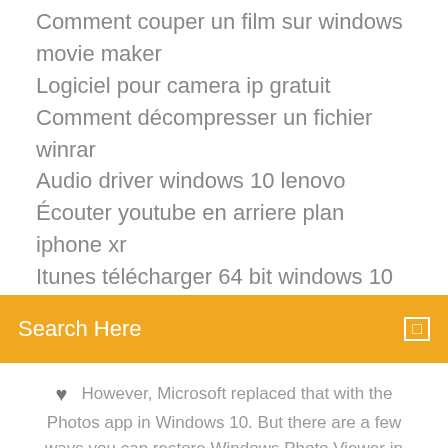Comment couper un film sur windows movie maker
Logiciel pour camera ip gratuit
Comment décompresser un fichier winrar
Audio driver windows 10 lenovo
Écouter youtube en arriere plan iphone xr
Itunes télécharger 64 bit windows 10
[Figure (screenshot): Orange search bar with 'Search Here' placeholder text and a search icon on the right]
However, Microsoft replaced that with the Photos app in Windows 10. But there are a few ways you can restore Windows Photo Viewer in Windows 10.
[Figure (infographic): Social sharing icons: facebook, twitter, dribbble, behance]
Restore Windows Photo Viewer to Windows 10 "Open With ...